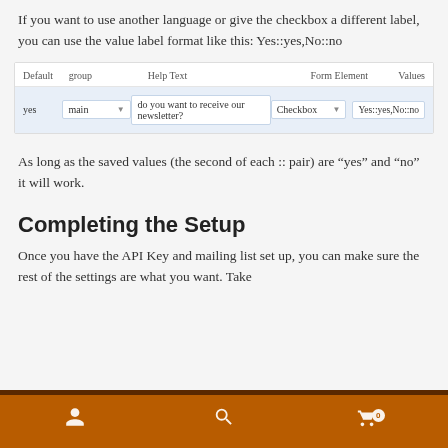If you want to use another language or give the checkbox a different label, you can use the value label format like this: Yes::yes,No::no
[Figure (screenshot): A table/form UI showing columns: Default, group, Help Text, Form Element, Values. A data row shows: yes | main (dropdown) | do you want to receive our newsletter? | Checkbox (dropdown) | Yes::yes,No::no]
As long as the saved values (the second of each :: pair) are “yes” and “no” it will work.
Completing the Setup
Once you have the API Key and mailing list set up, you can make sure the rest of the settings are what you want. Take